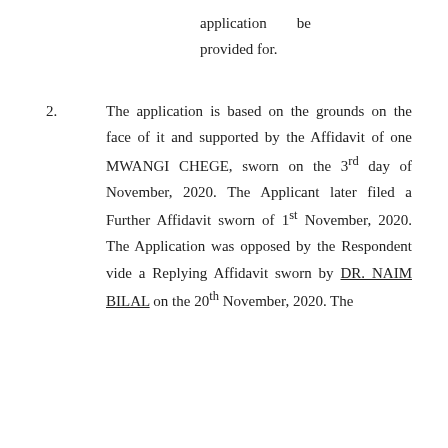application be provided for.
2. The application is based on the grounds on the face of it and supported by the Affidavit of one MWANGI CHEGE, sworn on the 3rd day of November, 2020. The Applicant later filed a Further Affidavit sworn of 1st November, 2020. The Application was opposed by the Respondent vide a Replying Affidavit sworn by DR. NAIM BILAL on the 20th November, 2020. The